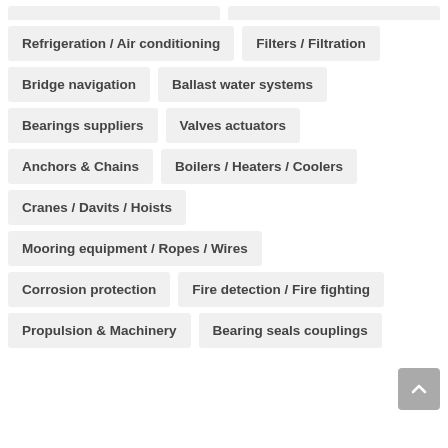Refrigeration / Air conditioning
Filters / Filtration
Bridge navigation
Ballast water systems
Bearings suppliers
Valves actuators
Anchors & Chains
Boilers / Heaters / Coolers
Cranes / Davits / Hoists
Mooring equipment / Ropes / Wires
Corrosion protection
Fire detection / Fire fighting
Propulsion & Machinery
Bearing seals couplings